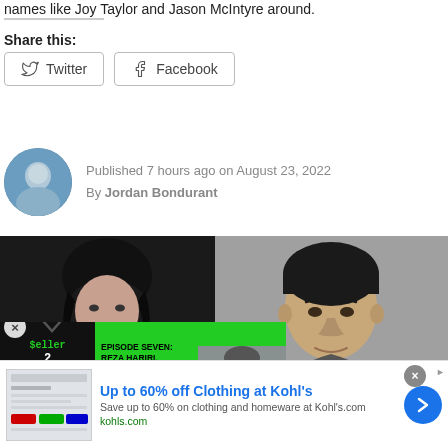names like Joy Taylor and Jason McIntyre around.
Share this:
[Figure (screenshot): Twitter and Facebook share buttons]
Published 7 hours ago on August 23, 2022
By Jordan Bondurant
[Figure (photo): Main article image showing two people side by side, with a video overlay in the lower left showing 'Seller 2 Seller' episode with text 'EPISODE SEVEN: REZA HARIRI, M'MELO & ESTR MEDIA']
[Figure (screenshot): Advertisement: Up to 60% off Clothing at Kohl's. Save up to 60% on clothing and homeware at Kohl's.com. kohls.com]